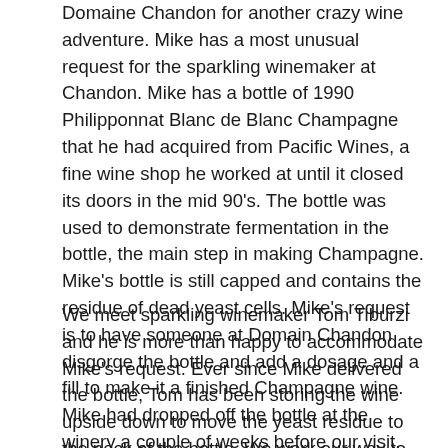Domaine Chandon for another crazy wine adventure. Mike has a most unusual request for the sparkling winemaker at Chandon. Mike has a bottle of 1990 Philipponnat Blanc de Blanc Champagne that he had acquired from Pacific Wines, a fine wine shop he worked at until it closed its doors in the mid 90's. The bottle was used to demonstrate fermentation in the bottle, the main step in making Champagne. Mike's bottle is still capped and contains the residue of dead yeast cells. Mike's request is to have someone at Domain Chandon disgorge the bottle and add a dosage and a fill to make it a finished Champagne wine. Mike had dropped off the bottle at the winery a couple of weeks before our visit.
We meet sparkling winemaker Tom Tiburzi and he is more than happy to accommodate Mike's request. Ever since Mike delivered the bottle, Tom has been storing the wine upside down to move the yeast residue to the neck of the bottle. We work our way to the assembly line area of the winery where Tom places the neck of the bottle into a